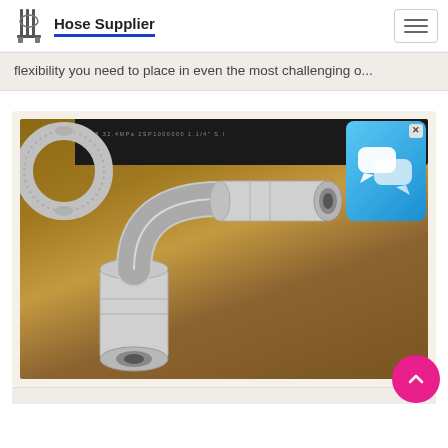Hose Supplier
flexibility you need to place in even the most challenging o...
[Figure (photo): Photo of metal hydraulic hose fittings/ferrules on a wooden surface, including a curved elbow fitting and cylindrical ferrules, with a black hydraulic hose visible in the background. A chat widget overlay appears in the top right corner of the image.]